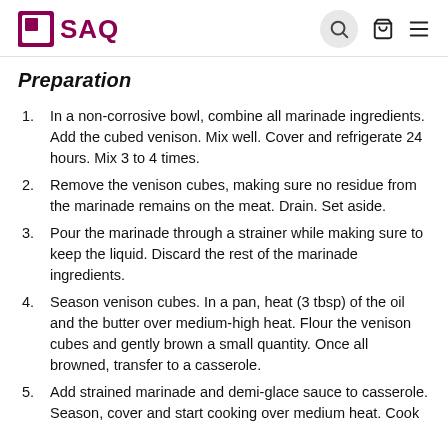SAQ
Preparation
In a non-corrosive bowl, combine all marinade ingredients. Add the cubed venison. Mix well. Cover and refrigerate 24 hours. Mix 3 to 4 times.
Remove the venison cubes, making sure no residue from the marinade remains on the meat. Drain. Set aside.
Pour the marinade through a strainer while making sure to keep the liquid. Discard the rest of the marinade ingredients.
Season venison cubes. In a pan, heat (3 tbsp) of the oil and the butter over medium-high heat. Flour the venison cubes and gently brown a small quantity. Once all browned, transfer to a casserole.
Add strained marinade and demi-glace sauce to casserole. Season, cover and start cooking over medium heat. Cook